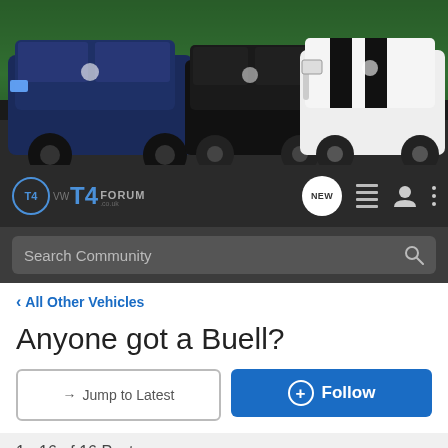[Figure (photo): Banner photo showing three Volkswagen T4 vans parked in front of green foliage]
[Figure (logo): VW T4 Forum logo with navigation icons including NEW chat bubble, menu, user, and more options]
Search Community
< All Other Vehicles
Anyone got a Buell?
→ Jump to Latest
+ Follow
1 - 16 of 16 Posts
kangar · Registered
Joined Mar 23, 2008 · 602 Posts